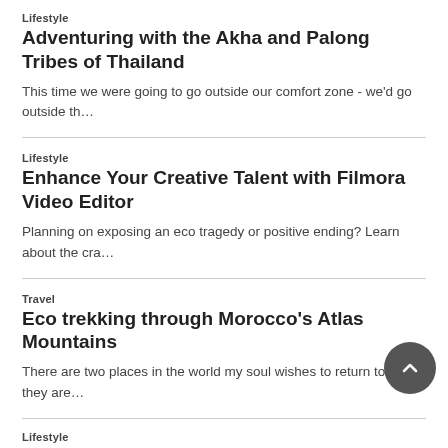Lifestyle
Adventuring with the Akha and Palong Tribes of Thailand
This time we were going to go outside our comfort zone - we'd go outside th…
Lifestyle
Enhance Your Creative Talent with Filmora Video Editor
Planning on exposing an eco tragedy or positive ending? Learn about the cra…
Travel
Eco trekking through Morocco's Atlas Mountains
There are two places in the world my soul wishes to return to and they are…
Lifestyle